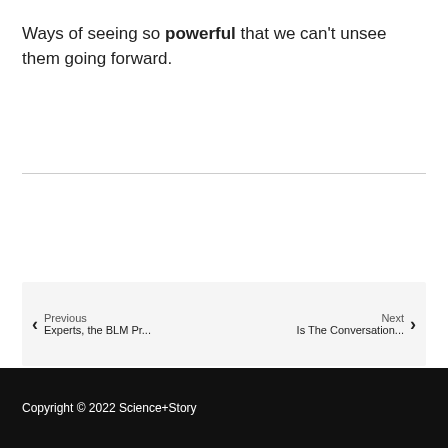Ways of seeing so powerful that we can't unsee them going forward.
Previous
Experts, the BLM Pr...
Next
Is The Conversation...
Copyright © 2022 Science+Story